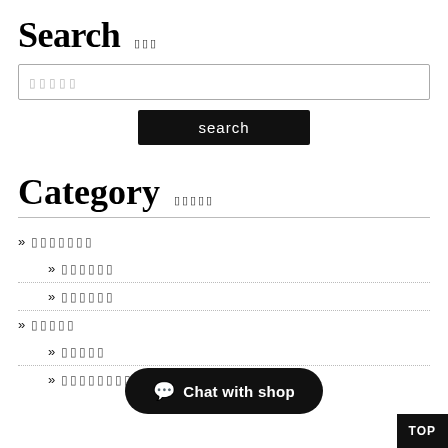Search
[search input placeholder]
search
Category
» [Japanese text]
» [Japanese text]
» [Japanese text]
» [Japanese text]
» [Japanese text]
» [Japanese text]
Chat with shop
TOP